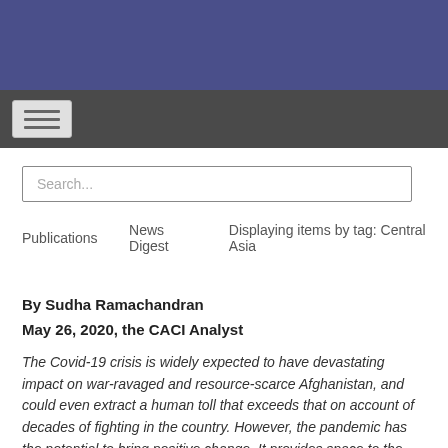[Figure (other): Blue header banner for website]
[Figure (other): Dark navigation bar with hamburger menu button]
Search...
Publications    News Digest    Displaying items by tag: Central Asia
By Sudha Ramachandran
May 26, 2020, the CACI Analyst
The Covid-19 crisis is widely expected to have devastating impact on war-ravaged and resource-scarce Afghanistan, and could even extract a human toll that exceeds that on account of decades of fighting in the country. However, the pandemic has the potential to bring positive change. It provides space to the main conflict actors to co-operate in providing